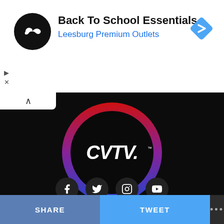[Figure (logo): Ad banner with black circular logo containing infinity-like symbol, title 'Back To School Essentials', subtitle 'Leesburg Premium Outlets', and blue diamond navigation icon on right]
Back To School Essentials
Leesburg Premium Outlets
[Figure (logo): CVTV logo: black circle with red-to-blue gradient ring border, white italic 'CVTV.' text inside, on dark background]
[Figure (infographic): Four social media icon buttons (Facebook, Twitter, Instagram, YouTube) as dark circular buttons on black background]
SHARE
TWEET
...